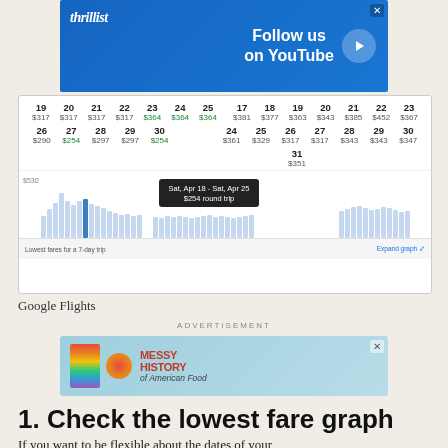[Figure (screenshot): Thrillist YouTube advertisement banner with blue background, logo, and Follow us on YouTube text]
[Figure (screenshot): Google Flights price calendar showing dates in April and May with prices, and a bar chart of lowest fares for a 7-day trip. A tooltip shows Sat, Apr 18 - Sat, Apr 25, $254 round trip.]
Google Flights
ADVERTISEMENT
[Figure (screenshot): Advertisement banner for Messy History of American Food with colorful logo and Statue of Liberty]
1. Check the lowest fare graph
If you want to be flexible about the dates of your